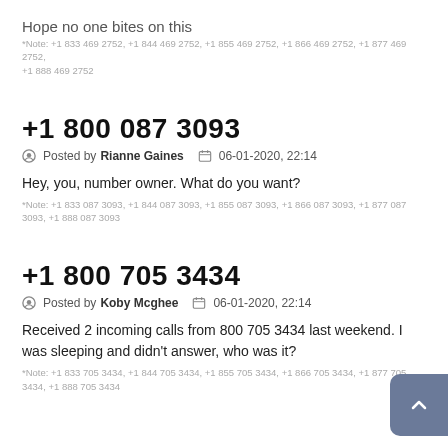Hope no one bites on this
*Note: +1 833 469 2752, +1 844 469 2752, +1 855 469 2752, +1 866 469 2752, +1 877 469 2752, +1 888 469 2752
+1 800 087 3093
Posted by Rianne Gaines   06-01-2020, 22:14
Hey, you, number owner. What do you want?
*Note: +1 833 087 3093, +1 844 087 3093, +1 855 087 3093, +1 866 087 3093, +1 877 087 3093, +1 888 087 3093
+1 800 705 3434
Posted by Koby Mcghee   06-01-2020, 22:14
Received 2 incoming calls from 800 705 3434 last weekend. I was sleeping and didn't answer, who was it?
*Note: +1 833 705 3434, +1 844 705 3434, +1 855 705 3434, +1 866 705 3434, +1 877 705 3434, +1 888 705 3434